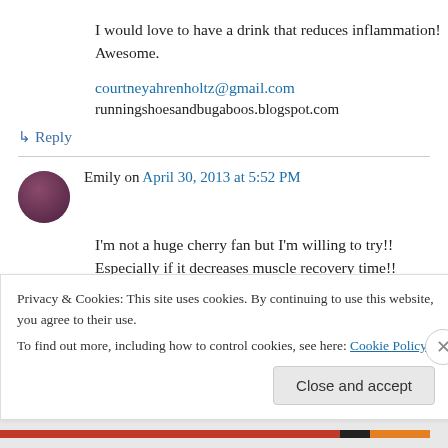I would love to have a drink that reduces inflammation! Awesome.
courtneyahrenholtz@gmail.com
runningshoesandbugaboos.blogspot.com
↳ Reply
Emily on April 30, 2013 at 5:52 PM
I'm not a huge cherry fan but I'm willing to try!! Especially if it decreases muscle recovery time!!
Privacy & Cookies: This site uses cookies. By continuing to use this website, you agree to their use.
To find out more, including how to control cookies, see here: Cookie Policy